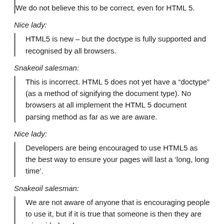We do not believe this to be correct, even for HTML 5.
Nice lady:
HTML5 is new – but the doctype is fully supported and recognised by all browsers.
Snakeoil salesman:
This is incorrect. HTML 5 does not yet have a “doctype” (as a method of signifying the document type). No browsers at all implement the HTML 5 document parsing method as far as we are aware.
Nice lady:
Developers are being encouraged to use HTML5 as the best way to ensure your pages will last a ‘long, long time’.
Snakeoil salesman:
We are not aware of anyone that is encouraging people to use it, but if it is true that someone is then they are misguided and